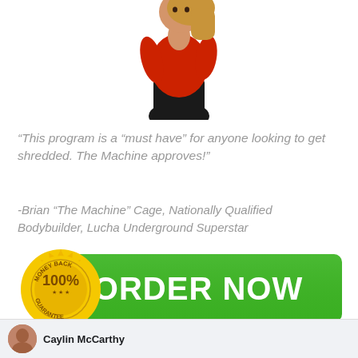[Figure (photo): Person in red athletic top and black pants, cropped at upper body, white background]
“This program is a “must have” for anyone looking to get shredded. The Machine approves!”
-Brian “The Machine” Cage, Nationally Qualified Bodybuilder, Lucha Underground Superstar
[Figure (infographic): Green ORDER NOW button with 100% Money Back Guarantee gold badge on the left]
Caylin McCarthy